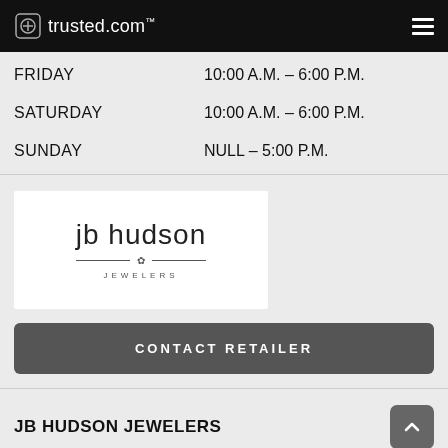trusted.com
FRIDAY	10:00 A.M. – 6:00 P.M.
SATURDAY	10:00 A.M. – 6:00 P.M.
SUNDAY	NULL – 5:00 P.M.
[Figure (logo): JB Hudson Jewelers logo with stylized text and decorative lines]
CONTACT RETAILER
JB HUDSON JEWELERS